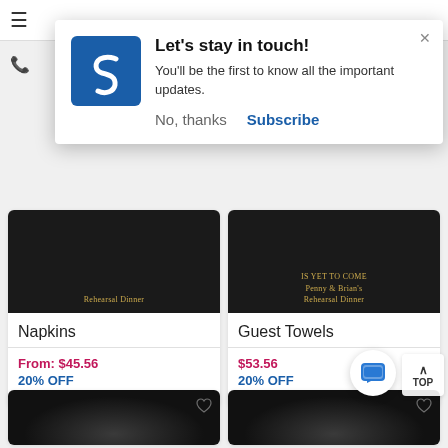[Figure (screenshot): Website navigation bar with hamburger menu icon]
[Figure (screenshot): Popup modal: Let's stay in touch! with blue S logo, subscription message, No thanks and Subscribe buttons]
Let's stay in touch!
You'll be the first to know all the important updates.
No, thanks
Subscribe
Rehearsal Dinner
Napkins
From: $45.56
20% OFF
IS YET TO COME
Penny & Brian's
Rehearsal Dinner
Guest Towels
$53.56
20% OFF